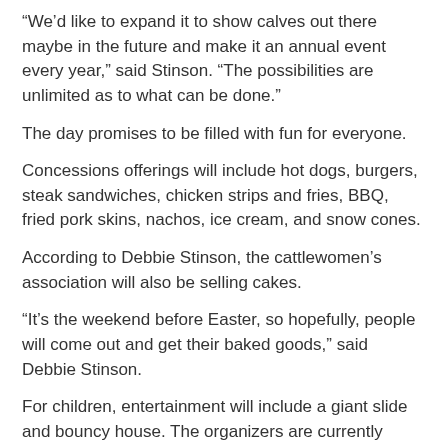“We’d like to expand it to show calves out there maybe in the future and make it an annual event every year,” said Stinson. “The possibilities are unlimited as to what can be done.”
The day promises to be filled with fun for everyone.
Concessions offerings will include hot dogs, burgers, steak sandwiches, chicken strips and fries, BBQ, fried pork skins, nachos, ice cream, and snow cones.
According to Debbie Stinson, the cattlewomen’s association will also be selling cakes.
“It’s the weekend before Easter, so hopefully, people will come out and get their baked goods,” said Debbie Stinson.
For children, entertainment will include a giant slide and bouncy house. The organizers are currently working on getting pony rides for kids.
In addition, attendees will have the opportunity to enjoy the musical entertainment of Steve Norman, Gage Smith, Nathan and Fletcher Robinson, Max Conway, Timmy Stewart and Hannah Schofield.